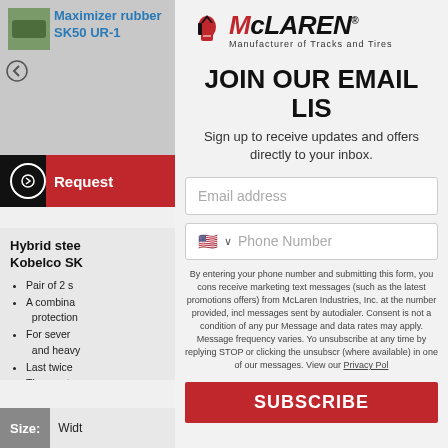[Figure (screenshot): Product thumbnail image for Maximizer rubber SK50 UR-1 track]
Maximizer rubber SK50 UR-1
[Figure (screenshot): Request button area with circle arrow icon on black background and red Request panel]
Hybrid steel Kobelco SK
Pair of 2 s
A combination protection
For severe and heavy
Last twice
The most undercarr
Size: Widt
[Figure (logo): McLaren logo with knight helmet icon and text 'McLaren Manufacturer of Tracks and Tires']
JOIN OUR EMAIL LIS
Sign up to receive updates and offers directly to your inbox.
Email address
Phone Number
By entering your phone number and submitting this form, you consent to receive marketing text messages (such as the latest promotions offers) from McLaren Industries, Inc. at the number provided, including messages sent by autodialer. Consent is not a condition of any purchase. Message and data rates may apply. Message frequency varies. You can unsubscribe at any time by replying STOP or clicking the unsubscribe link (where available) in one of our messages. View our Privacy Policy
SUBSCRIBE